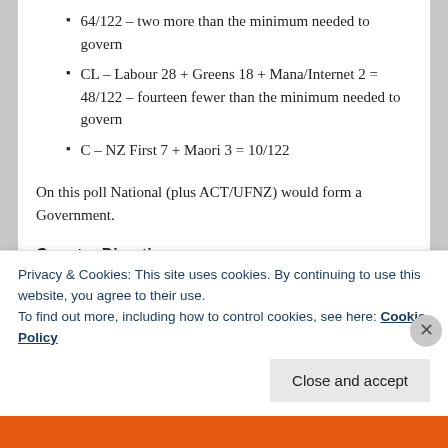64/122 – two more than the minimum needed to govern
CL – Labour 28 + Greens 18 + Mana/Internet 2 = 48/122 – fourteen fewer than the minimum needed to govern
C – NZ First 7 + Maori 3 = 10/122
On this poll National (plus ACT/UFNZ) would form a Government.
Country Direction
Right 65.5% (+0.5%)
Wrong 23.0% (-0.5)
Privacy & Cookies: This site uses cookies. By continuing to use this website, you agree to their use.
To find out more, including how to control cookies, see here: Cookie Policy
Close and accept